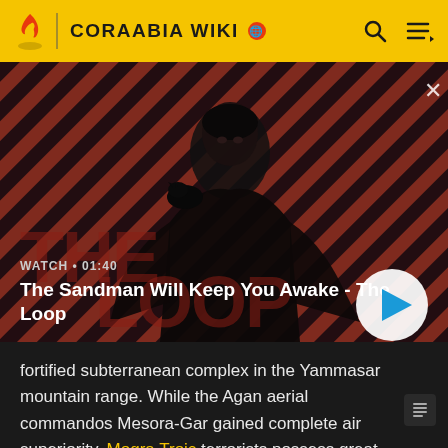CORAABIA WIKI
[Figure (screenshot): Video thumbnail for 'The Sandman Will Keep You Awake - The Loop' showing a dark-clad figure with a bird on shoulder against a red and black diagonal striped background. Shows WATCH • 01:40 label and a play button.]
WATCH • 01:40
The Sandman Will Keep You Awake - The Loop
fortified subterranean complex in the Yammasar mountain range. While the Agan aerial commandos Mesora-Gar gained complete air superiority, Mogra Troic terrorists possess great knowledge of the area, which gives them a significant advantage for the